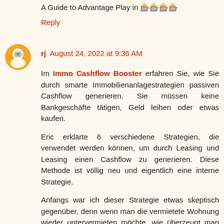A Guide to Advantage Play in 🎰🎰🎰🎰
Reply
[Figure (illustration): Orange circular avatar with blogger icon]
rj  August 24, 2022 at 9:36 AM
Im Immo Cashflow Booster erfahren Sie, wie Sie durch smarte Immobilienanlagestrategien passiven Cashflow generieren. Sie müssen keine Bankgeschäfte tätigen, Geld leihen oder etwas kaufen.
Eric erklärte 6 verschiedene Strategien, die verwendet werden können, um durch Leasing und Leasing einen Cashflow zu generieren. Diese Methode ist völlig neu und eigentlich eine interne Strategie.
Anfangs war ich dieser Strategie etwas skeptisch gegenüber, denn wenn man die vermietete Wohnung wieder untervermieten möchte, wie überzeugt man dann den Vermieter.
Aber ich habe eine bessere Ausbildung und Eric hat klare Anweisungen, wie man den Vermieter leicht überzeden